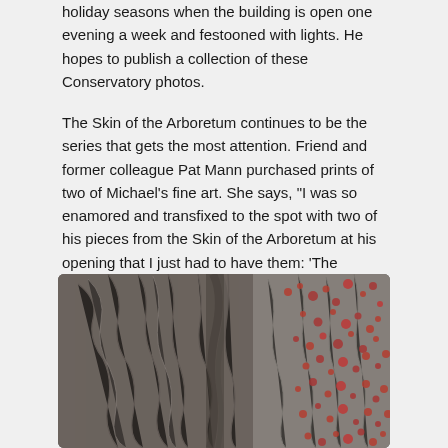holiday seasons when the building is open one evening a week and festooned with lights. He hopes to publish a collection of these Conservatory photos.
The Skin of the Arboretum continues to be the series that gets the most attention. Friend and former colleague Pat Mann purchased prints of two of Michael's fine art. She says, "I was so enamored and transfixed to the spot with two of his pieces from the Skin of the Arboretum at his opening that I just had to have them: 'The Hobbiton of the Bark' and 'The Nude of the Bark.'"
[Figure (photo): Close-up photograph of tree bark texture showing rough, layered bark surface with red lichen spots on the right side. The bark appears grey-brown with deep furrows and ridges.]